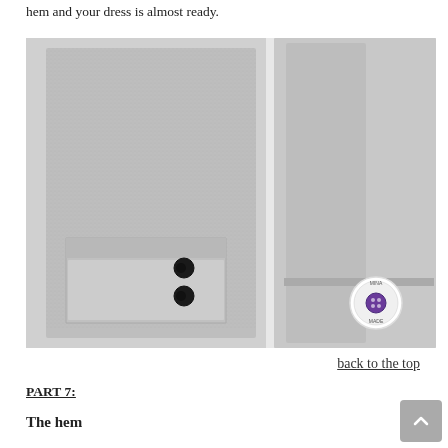hem and your dress is almost ready.
[Figure (photo): Two close-up photos of grey tweed fabric garment sleeve/cuff area. Left photo shows a folded cuff with two dark buttons visible. Right photo shows a sleeve edge with a circular brand label reading 'MINA MADE'.]
back to the top
PART 7:
The hem